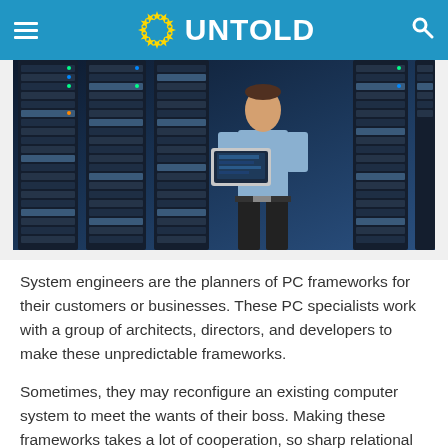UNTOLD
[Figure (photo): A person in a blue shirt holding a laptop standing in front of server racks in a data center.]
System engineers are the planners of PC frameworks for their customers or businesses. These PC specialists work with a group of architects, directors, and developers to make these unpredictable frameworks.
Sometimes, they may reconfigure an existing computer system to meet the wants of their boss. Making these frameworks takes a lot of cooperation, so sharp relational abilities are fundamental.